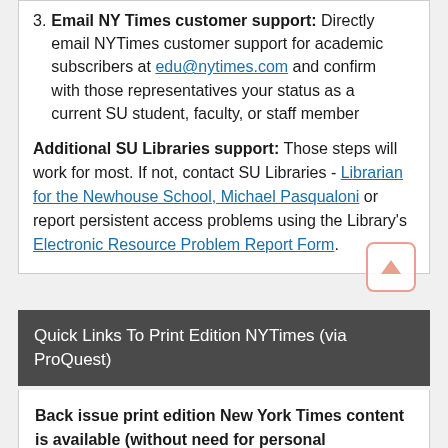3. Email NY Times customer support: Directly email NYTimes customer support for academic subscribers at edu@nytimes.com and confirm with those representatives your status as a current SU student, faculty, or staff member
Additional SU Libraries support: Those steps will work for most. If not, contact SU Libraries - Librarian for the Newhouse School, Michael Pasqualoni or report persistent access problems using the Library's Electronic Resource Problem Report Form.
Quick Links To Print Edition NYTimes (via ProQuest)
Back issue print edition New York Times content is available (without need for personal subscription) via